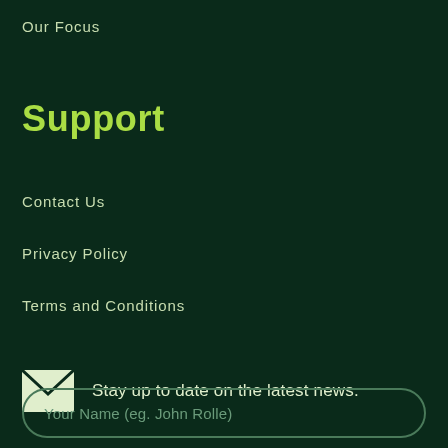Our Focus
Support
Contact Us
Privacy Policy
Terms and Conditions
Stay up to date on the latest news.
Your Name (eg. John Rolle)